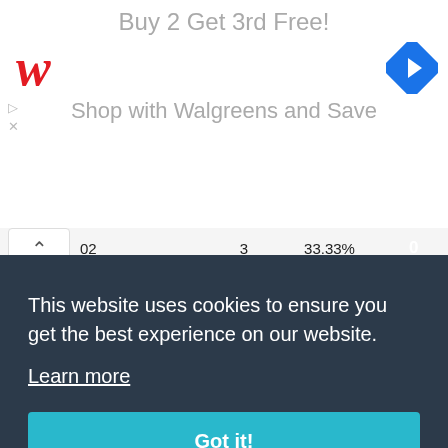[Figure (screenshot): Walgreens advertisement banner: 'Buy 2 Get 3rd Free!' with Walgreens logo and 'Shop with Walgreens and Save']
| Name | Count | Percent | Value |
| --- | --- | --- | --- |
| 02 | 3 | 33.33% | 0 |
| FV4005 Stage II | 195 | 48.21% | 861 |
| FV4004 Conway | 200 | 43% | 561 |
| FV3805 | 37 | 40.54% | 649 |
|  |  |  |  |
|  |  |  | 4 |
|  |  |  | 4 |
|  |  |  | 5 |
|  |  |  | 5 |
| Emil II | 38 | 39.47% | 379 |
This website uses cookies to ensure you get the best experience on our website. Learn more
Got it!